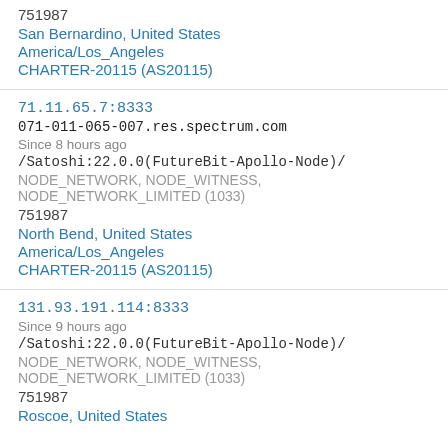751987
San Bernardino, United States
America/Los_Angeles
CHARTER-20115 (AS20115)
71.11.65.7:8333
071-011-065-007.res.spectrum.com
Since 8 hours ago
/Satoshi:22.0.0(FutureBit-Apollo-Node)/
NODE_NETWORK, NODE_WITNESS, NODE_NETWORK_LIMITED (1033)
751987
North Bend, United States
America/Los_Angeles
CHARTER-20115 (AS20115)
131.93.191.114:8333
Since 9 hours ago
/Satoshi:22.0.0(FutureBit-Apollo-Node)/
NODE_NETWORK, NODE_WITNESS, NODE_NETWORK_LIMITED (1033)
751987
Roscoe, United States